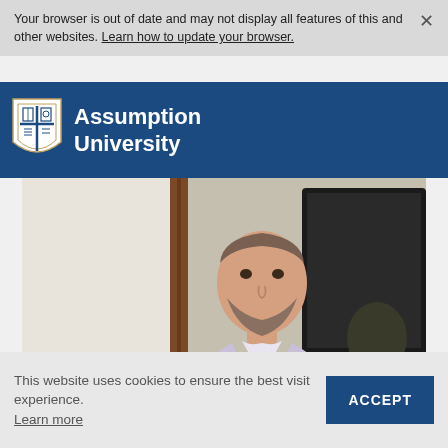Your browser is out of date and may not display all features of this and other websites. Learn how to update your browser. ×
[Figure (logo): Assumption University logo with shield and text on dark blue navigation bar with hamburger menu icon]
[Figure (photo): A bearded man in a light purple dress shirt presenting or speaking in a classroom, with a monitor visible in background and students seated]
This website uses cookies to ensure the best visit experience. Learn more
ACCEPT